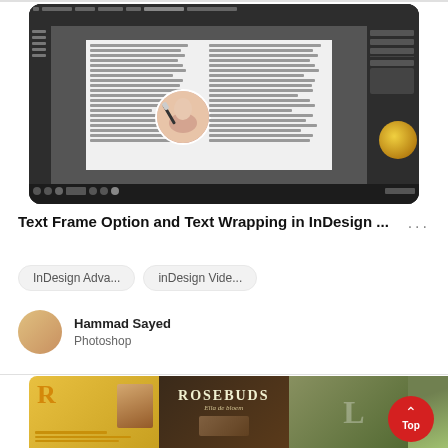[Figure (screenshot): Screenshot of Adobe InDesign application showing a document with text columns and a circular image of a woman's face with makeup brush, surrounded by dark UI panels and toolbars]
Text Frame Option and Text Wrapping in InDesign ...
InDesign Adva...   inDesign Vide...
Hammad Sayed
Photoshop
[Figure (photo): Thumbnail image showing three panels: left panel with gold/yellow background and R logo, middle panel with ROSEBUDS magazine-style text on dark background with flowers, right panel with bird/nature photo on green background]